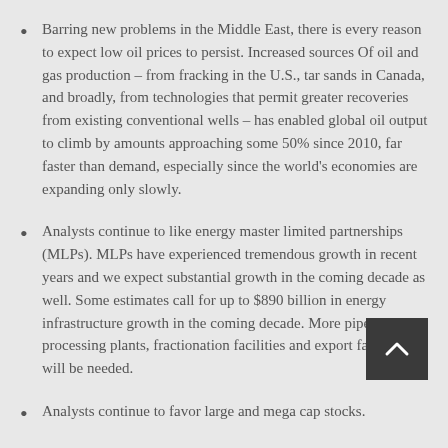Barring new problems in the Middle East, there is every reason to expect low oil prices to persist. Increased sources Of oil and gas production – from fracking in the U.S., tar sands in Canada, and broadly, from technologies that permit greater recoveries from existing conventional wells – has enabled global oil output to climb by amounts approaching some 50% since 2010, far faster than demand, especially since the world's economies are expanding only slowly.
Analysts continue to like energy master limited partnerships (MLPs). MLPs have experienced tremendous growth in recent years and we expect substantial growth in the coming decade as well. Some estimates call for up to $890 billion in energy infrastructure growth in the coming decade. More pipelines, processing plants, fractionation facilities and export facilities will be needed.
Analysts continue to favor large and mega cap stocks.